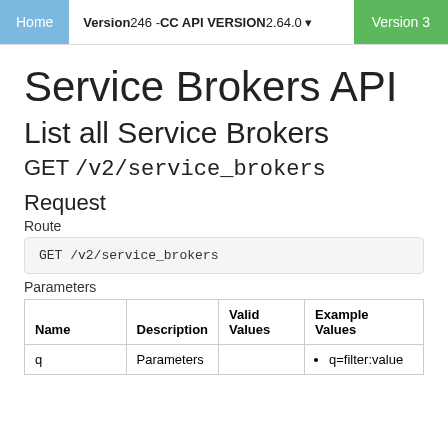Home | Version 246 - CC API VERSION 2.64.0 | Version 3
Service Brokers API
List all Service Brokers
GET /v2/service_brokers
Request
Route
GET /v2/service_brokers
Parameters
| Name | Description | Valid Values | Example Values |
| --- | --- | --- | --- |
| q | Parameters |  | q=filter:value |